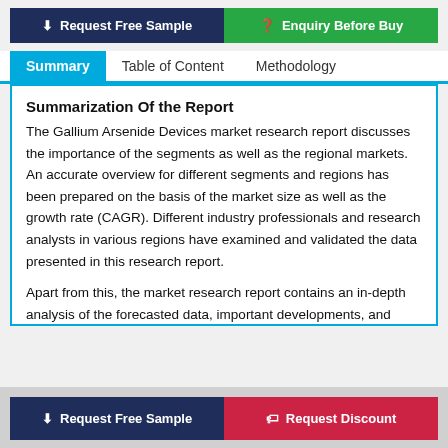Request Free Sample | Enquiry Before Buy
Summary | Table of Content | Methodology
Summarization Of the Report
The Gallium Arsenide Devices market research report discusses the importance of the segments as well as the regional markets. An accurate overview for different segments and regions has been prepared on the basis of the market size as well as the growth rate (CAGR). Different industry professionals and research analysts in various regions have examined and validated the data presented in this research report.
Apart from this, the market research report contains an in-depth analysis of the forecasted data, important developments, and revenues. Further, it contains a thorough analysis of the important
Request Free Sample | Request Discount